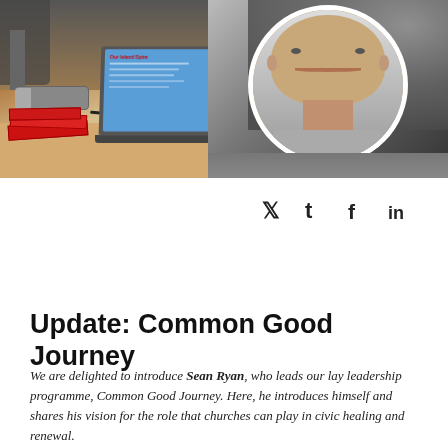[Figure (photo): A composite image: left side shows a desk with a laptop displaying a blue screen with red header text, a small projector, and red notebooks; right side shows a circular-cropped black-and-white portrait of a smiling middle-aged bald man overlaid on the desk photo.]
[Figure (infographic): Social media share icons: Twitter bird (t), Facebook (f), LinkedIn (in)]
Update: Common Good Journey
We are delighted to introduce Sean Ryan, who leads our lay leadership programme, Common Good Journey. Here, he introduces himself and shares his vision for the role that churches can play in civic healing and renewal.